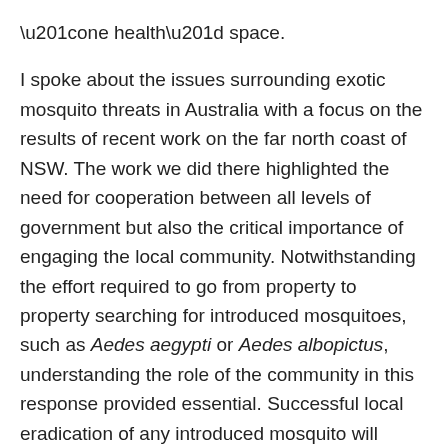“one health” space.
I spoke about the issues surrounding exotic mosquito threats in Australia with a focus on the results of recent work on the far north coast of NSW. The work we did there highlighted the need for cooperation between all levels of government but also the critical importance of engaging the local community. Notwithstanding the effort required to go from property to property searching for introduced mosquitoes, such as Aedes aegypti or Aedes albopictus, understanding the role of the community in this response provided essential. Successful local eradication of any introduced mosquito will require assistance from the local community.
The abstract of my presentation is below: